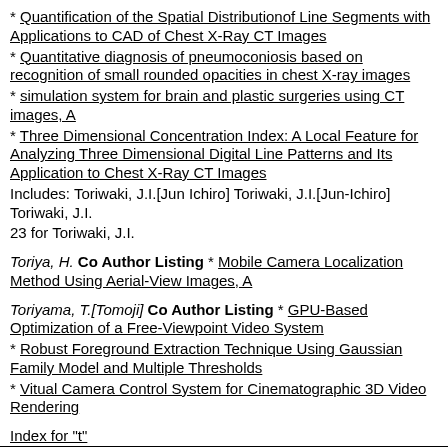* Quantification of the Spatial Distribution of Line Segments with Applications to CAD of Chest X-Ray CT Images
* Quantitative diagnosis of pneumoconiosis based on recognition of small rounded opacities in chest X-ray images
* simulation system for brain and plastic surgeries using CT images, A
* Three Dimensional Concentration Index: A Local Feature for Analyzing Three Dimensional Digital Line Patterns and Its Application to Chest X-Ray CT Images
Includes: Toriwaki, J.I.[Jun Ichiro] Toriwaki, J.I.[Jun-Ichiro] Toriwaki, J.I.
23 for Toriwaki, J.I.
Toriya, H. Co Author Listing * Mobile Camera Localization Method Using Aerial-View Images, A
Toriyama, T.[Tomoji] Co Author Listing * GPU-Based Optimization of a Free-Viewpoint Video System
* Robust Foreground Extraction Technique Using Gaussian Family Model and Multiple Thresholds
* Vitual Camera Control System for Cinematographic 3D Video Rendering
Index for "t"